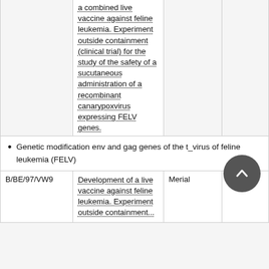|  | Description | Company | Species |
| --- | --- | --- | --- |
|  | a combined live vaccine against feline leukemia. Experiment outside containment (clinical trial) for the study of the safety of a sucutaneous administration of a recombinant canarypoxvirus expressing FELV genes. |  |  |
|  | Genetic modification env and gag genes of the t_virus of feline leukemia (FELV) |  |  |
| B/BE/97/VW9 | Development of a live vaccine against feline leukemia. Experiment outside containment... | Merial | cats |